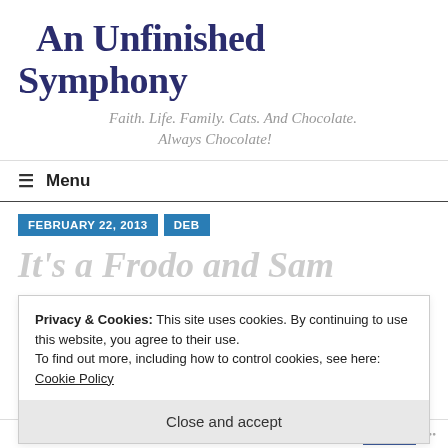An Unfinished Symphony
Faith. Life. Family. Cats. And Chocolate. Always Chocolate!
≡  Menu
FEBRUARY 22, 2013   DEB
It's a Frodo and Sam
Privacy & Cookies: This site uses cookies. By continuing to use this website, you agree to their use.
To find out more, including how to control cookies, see here: Cookie Policy
Close and accept